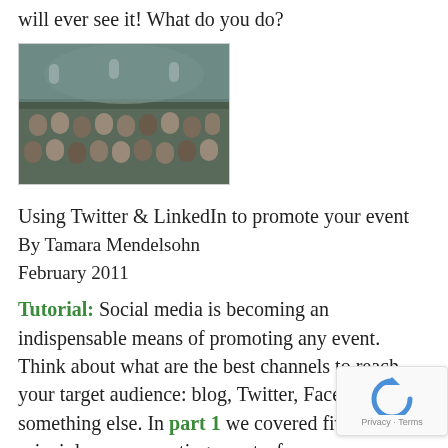will ever see it! What do you do?
[Figure (photo): Audience seated in rows at a conference or event, viewed from the front]
Using Twitter & LinkedIn to promote your event
By Tamara Mendelsohn
February 2011
Tutorial: Social media is becoming an indispensable means of promoting any event. Think about what are the best channels to reach your target audience: blog, Twitter, Facebook or something else. In part 1 we covered five guiding principles on promoting events, from choosing the proper platform and defining
[Figure (other): reCAPTCHA widget with Privacy and Terms links]